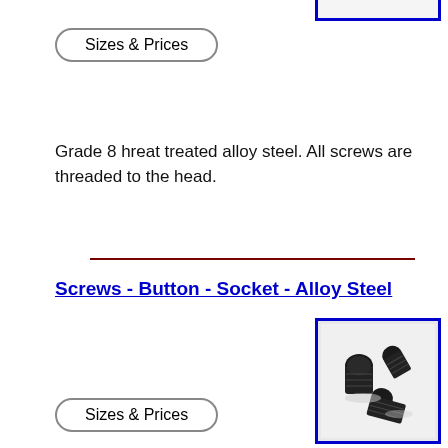[Figure (other): Partial blue-bordered image box visible at top right of page (cropped from previous section)]
Sizes & Prices
Grade 8 hreat treated alloy steel. All screws are threaded to the head.
Screws - Button - Socket - Alloy Steel
[Figure (photo): Photo of black button socket alloy steel screws on a white background, shown inside a blue-bordered box]
Sizes & Prices